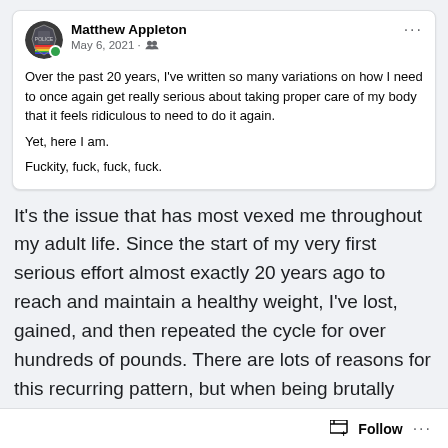[Figure (screenshot): Facebook post card by Matthew Appleton dated May 6, 2021, with avatar showing a police badge with rainbow colors and a green online indicator dot. Post text reads: 'Over the past 20 years, I've written so many variations on how I need to once again get really serious about taking proper care of my body that it feels ridiculous to need to do it again. Yet, here I am. Fuckity, fuck, fuck, fuck.']
It's the issue that has most vexed me throughout my adult life. Since the start of my very first serious effort almost exactly 20 years ago to reach and maintain a healthy weight, I've lost, gained, and then repeated the cycle for over hundreds of pounds. There are lots of reasons for this recurring pattern, but when being brutally honest with myself, most of them are truly just excuses. It doesn't matter how long the healthy part a particular portion of the cycle lasts, it never stops being work or becomes second nature. Eventually, I tire of the effort and default back to eating
Follow ...